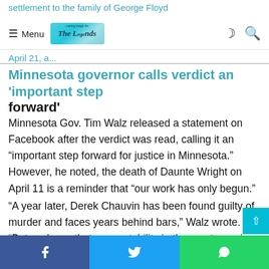settlement to the family of George Floyd
Menu | The Legends [logo] | [moon icon] [search icon]
April 21, a...
Minnesota governor calls verdict an 'important step forward'
Minnesota Gov. Tim Walz released a statement on Facebook after the verdict was read, calling it an “important step forward for justice in Minnesota.” However, he noted, the death of Daunte Wright on April 11 is a reminder that “our work has only begun.”
“A year later, Derek Chauvin has been found guilty of murder and faces years behind bars,” Walz wrote. “But we know that accountability in the courtroom is only the first step.”
[Facebook share] [Twitter share] [WhatsApp share]